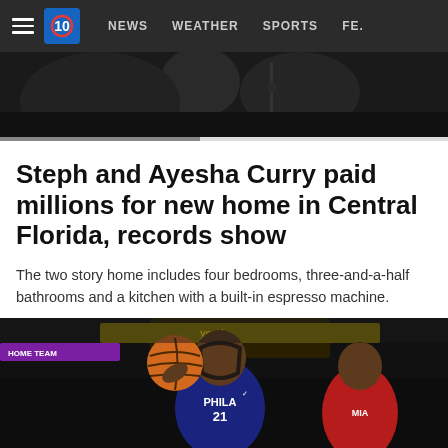NEWS   WEATHER   SPORTS   FE...
[Figure (photo): Dark background photo showing people, partially visible at top of page]
Steph and Ayesha Curry paid millions for new home in Central Florida, records show
The two story home includes four bedrooms, three-and-a-half bathrooms and a kitchen with a built-in espresso machine.
news.yahoo.com
[Figure (photo): Basketball game photo showing Philadelphia 76ers player #21 wearing a face mask going up for a shot, with a Miami Heat defender nearby, arena crowd in background]